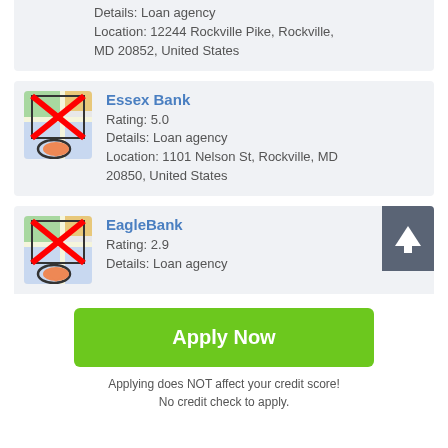Details: Loan agency
Location: 12244 Rockville Pike, Rockville, MD 20852, United States
Essex Bank
Rating: 5.0
Details: Loan agency
Location: 1101 Nelson St, Rockville, MD 20850, United States
EagleBank
Rating: 2.9
Details: Loan agency
Apply Now
Applying does NOT affect your credit score!
No credit check to apply.